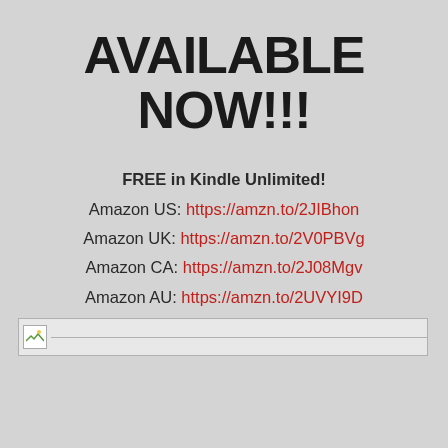AVAILABLE NOW!!!
FREE in Kindle Unlimited!
Amazon US: https://amzn.to/2JIBhon
Amazon UK: https://amzn.to/2V0PBVg
Amazon CA: https://amzn.to/2J08Mgv
Amazon AU: https://amzn.to/2UVYI9D
Also available in paperback: https://amzn.to/2ZUnlY3
[Figure (other): Broken/missing image placeholder icon with horizontal line]